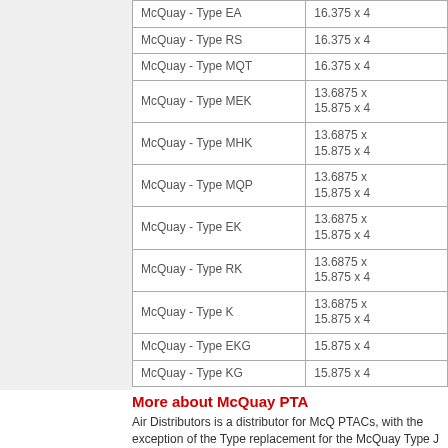| Model | Dimensions |
| --- | --- |
| McQuay - Type EA | 16.375 x 4... |
| McQuay - Type RS | 16.375 x 4... |
| McQuay - Type MQT | 16.375 x 4... |
| McQuay - Type MEK | 13.6875 x ...
15.875 x 4... |
| McQuay - Type MHK | 13.6875 x ...
15.875 x 4... |
| McQuay - Type MQP | 13.6875 x ...
15.875 x 4... |
| McQuay - Type EK | 13.6875 x ...
15.875 x 4... |
| McQuay - Type RK | 13.6875 x ...
15.875 x 4... |
| McQuay - Type K | 13.6875 x ...
15.875 x 4... |
| McQuay - Type EKG | 15.875 x 4... |
| McQuay - Type KG | 15.875 x 4... |
More about McQuay PTA...
Air Distributors is a distributor for McQ... PTACs, with the exception of the Type... replacement for the McQuay Type J P... Conditioning products from McQuay I...
Air Distributors Company, Inc. is a Mc...